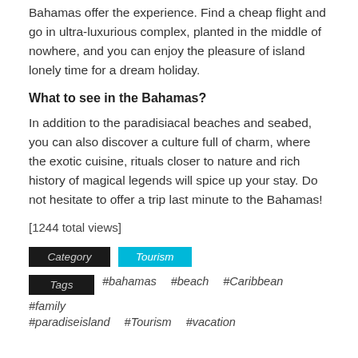Bahamas offer the experience. Find a cheap flight and go in ultra-luxurious complex, planted in the middle of nowhere, and you can enjoy the pleasure of island lonely time for a dream holiday.
What to see in the Bahamas?
In addition to the paradisiacal beaches and seabed, you can also discover a culture full of charm, where the exotic cuisine, rituals closer to nature and rich history of magical legends will spice up your stay. Do not hesitate to offer a trip last minute to the Bahamas!
[1244 total views]
Category  Tourism
Tags  #bahamas  #beach  #Caribbean  #family  #paradiseisland  #Tourism  #vacation